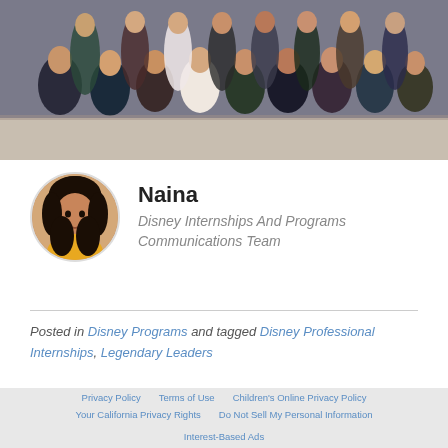[Figure (photo): Group photo of approximately 20 young women sitting and standing outdoors, some with lanyards/badges, against a building wall background]
Naina
Disney Internships And Programs Communications Team
Posted in Disney Programs and tagged Disney Professional Internships, Legendary Leaders
Privacy Policy   Terms of Use   Children's Online Privacy Policy   Your California Privacy Rights   Do Not Sell My Personal Information   Interest-Based Ads